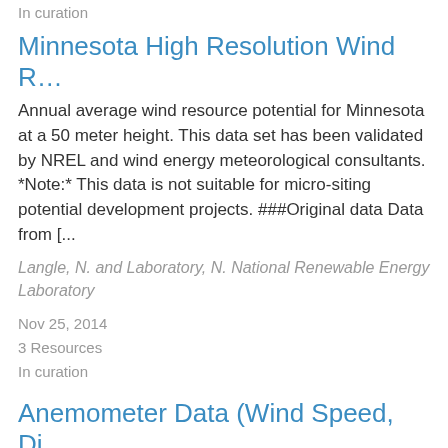In curation
Minnesota High Resolution Wind R…
Annual average wind resource potential for Minnesota at a 50 meter height. This data set has been validated by NREL and wind energy meteorological consultants. *Note:* This data is not suitable for micro-siting potential development projects. ###Original data Data from [...
Langle, N. and Laboratory, N. National Renewable Energy Laboratory
Nov 25, 2014
3 Resources
In curation
Anemometer Data (Wind Speed, Di…
Wind data collected from Pascua Yaqui Indian Reservation in Arizona from an anemometer as part of the Native American anemometer loan program. Monthly mean wind speed is available for 2003 through 2004, as